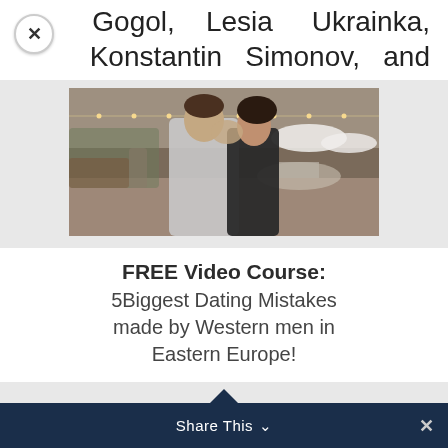Gogol, Lesia Ukrainka, Konstantin Simonov, and
[Figure (photo): A man and woman kissing outdoors in a plaza or square, with string lights, a fountain, and white umbrellas visible in the background.]
FREE Video Course: 5Biggest Dating Mistakes made by Western men in Eastern Europe!
Share This ∨